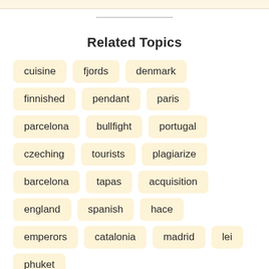Related Topics
cuisine
fjords
denmark
finnished
pendant
paris
parcelona
bullfight
portugal
czeching
tourists
plagiarize
barcelona
tapas
acquisition
england
spanish
hace
emperors
catalonia
madrid
lei
phuket